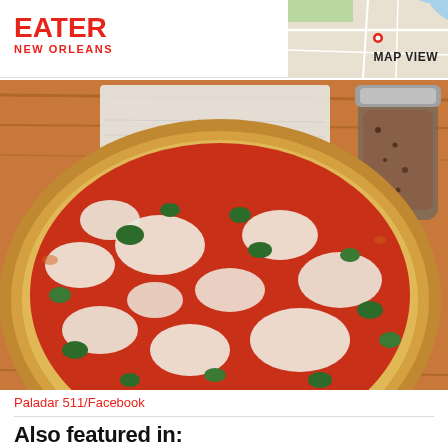EATER NEW ORLEANS
[Figure (photo): Map thumbnail with MAP VIEW label in top-right header area]
[Figure (photo): Close-up photo of a margherita-style pizza with red tomato sauce, white mozzarella, and green basil on a wooden table with a pepper shaker and napkin visible]
Paladar 511/Facebook
Also featured in:
[Figure (photo): Thumbnail photo of grilled/roasted meat dish]
[Figure (photo): Thumbnail photo of food dish]